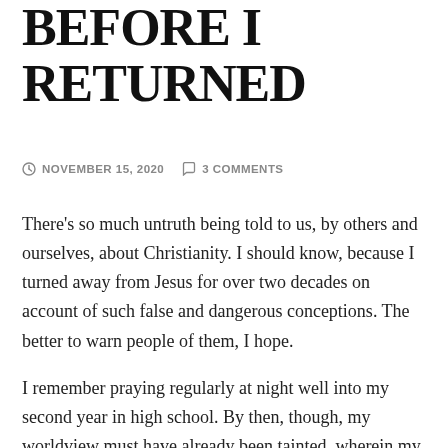BEFORE I RETURNED
NOVEMBER 15, 2020   3 COMMENTS
There’s so much untruth being told to us, by others and ourselves, about Christianity. I should know, because I turned away from Jesus for over two decades on account of such false and dangerous conceptions. The better to warn people of them, I hope.
I remember praying regularly at night well into my second year in high school. By then, though, my worldview must have already been tainted, wherein my prayers resembled a wishlist more than a dialogue with the Lord (I am still working on this). But what clinched it the following year, upon my confirmation as a Catholic, was exposure to New Age ideas, as found in books and magazines. Two big books